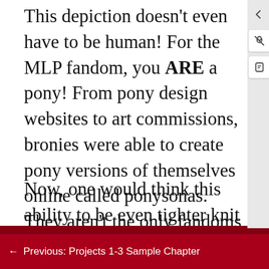This depiction doesn't even have to be human! For the MLP fandom, you ARE a pony! From pony design websites to art commissions, bronies were able to create pony versions of themselves online called ponysonas. They aren't the only fandoms to do this either – fandoms like the "Warriors" have their members depicted as cats, reflecting the fandom's origins around the book series.
Now, one would think this ability to be even tighter knit with a community is a good thing! And, in many cases, it is but, there are concerning downsides that must be acknowledged. As stated in
[Figure (other): Scroll-to-top floating action button (red circle with upward arrow)]
← Previous: Projects 1-3 Sample Chapter